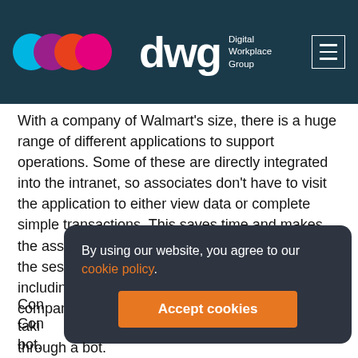dwg Digital Workplace Group
With a company of Walmart's size, there is a huge range of different applications to support operations. Some of these are directly integrated into the intranet, so associates don't have to visit the application to either view data or complete simple transactions. This saves time and makes the associate's working day that bit easier. During the session, we saw examples of integrations, including an employee scheduling tool and the company's store task management application.
Con... taking... app... ques... through a bot.
By using our website, you agree to our cookie policy.
Accept cookies